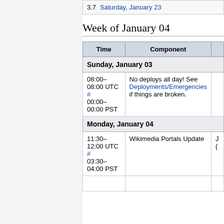3.7 Saturday, January 23
Week of January 04
| Time | Component |
| --- | --- |
| Sunday, January 03 |  |
| 08:00–08:00 UTC # 00:00–00:00 PST | No deploys all day! See Deployments/Emergencies if things are broken. |
| Monday, January 04 |  |
| 11:30–12:00 UTC # 03:30–04:00 PST | Wikimedia Portals Update |